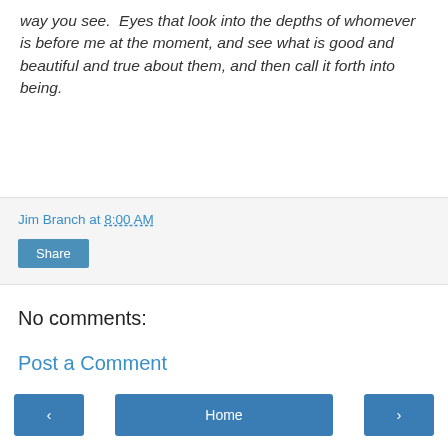way you see. Eyes that look into the depths of whomever is before me at the moment, and see what is good and beautiful and true about them, and then call it forth into being.
Jim Branch at 8:00 AM
[Figure (other): Share button]
No comments:
Post a Comment
< Home >